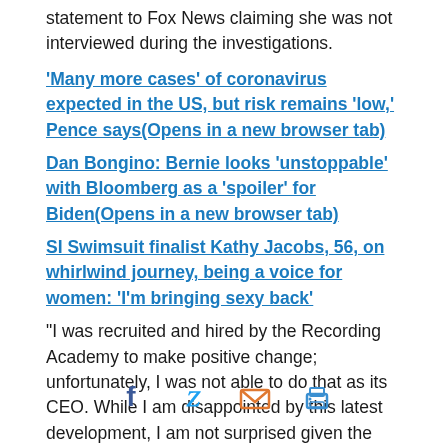statement to Fox News claiming she was not interviewed during the investigations.
'Many more cases' of coronavirus expected in the US, but risk remains 'low,' Pence says(Opens in a new browser tab)
Dan Bongino: Bernie looks 'unstoppable' with Bloomberg as a 'spoiler' for Biden(Opens in a new browser tab)
SI Swimsuit finalist Kathy Jacobs, 56, on whirlwind journey, being a voice for women: 'I'm bringing sexy back'
“I was recruited and hired by the Recording Academy to make positive change; unfortunately, I was not able to do that as its CEO. While I am disappointed by this latest development, I am not surprised given the Academy’s pattern of dealing with wh…’s statement. “Is anyone surprised…ations did not